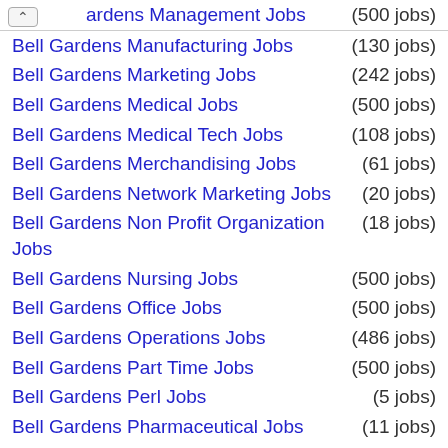Gardens Management Jobs (500 jobs)
Bell Gardens Manufacturing Jobs (130 jobs)
Bell Gardens Marketing Jobs (242 jobs)
Bell Gardens Medical Jobs (500 jobs)
Bell Gardens Medical Tech Jobs (108 jobs)
Bell Gardens Merchandising Jobs (61 jobs)
Bell Gardens Network Marketing Jobs (20 jobs)
Bell Gardens Non Profit Organization Jobs (18 jobs)
Bell Gardens Nursing Jobs (500 jobs)
Bell Gardens Office Jobs (500 jobs)
Bell Gardens Operations Jobs (486 jobs)
Bell Gardens Part Time Jobs (500 jobs)
Bell Gardens Perl Jobs (5 jobs)
Bell Gardens Pharmaceutical Jobs (11 jobs)
Bell Gardens Pharmacy Jobs (60 jobs)
Bell Gardens Quality Assurance Jobs (66 jobs)
Bell Gardens Real Estate Jobs (46 jobs)
Bell Gardens Receiving Jobs (82 jobs)
Bell Gardens Research Jobs (301 jobs)
Bell Gardens Restaurant Jobs (103 jobs)